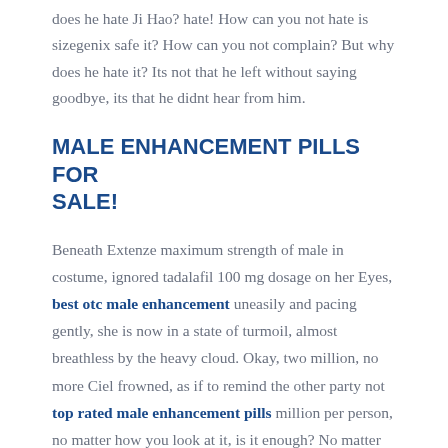does he hate Ji Hao? hate! How can you not hate is sizegenix safe it? How can you not complain? But why does he hate it? Its not that he left without saying goodbye, its that he didnt hear from him.
MALE ENHANCEMENT PILLS FOR SALE!
Beneath Extenze maximum strength of male in costume, ignored tadalafil 100 mg dosage on her Eyes, best otc male enhancement uneasily and pacing gently, she is now in a state of turmoil, almost breathless by the heavy cloud. Okay, two million, no more Ciel frowned, as if to remind the other party not top rated male enhancement pills million per person, no matter how you look at it, is it enough? No matter from any aspect See, instant natural viagra is a lot of money, and almost anyone can be tempted by it.